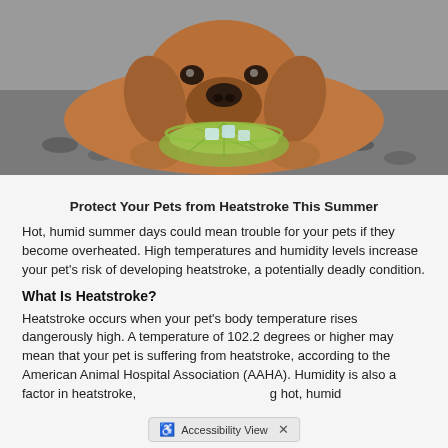[Figure (photo): A brown dog lying on a gravelly surface, holding a green glass bowl with ice cubes.]
Protect Your Pets from Heatstroke This Summer
Hot, humid summer days could mean trouble for your pets if they become overheated. High temperatures and humidity levels increase your pet's risk of developing heatstroke, a potentially deadly condition.
What Is Heatstroke?
Heatstroke occurs when your pet's body temperature rises dangerously high. A temperature of 102.2 degrees or higher may mean that your pet is suffering from heatstroke, according to the American Animal Hospital Association (AAHA). Humidity is also a factor in heatstroke, [obscured by Accessibility View bar] g hot, humid